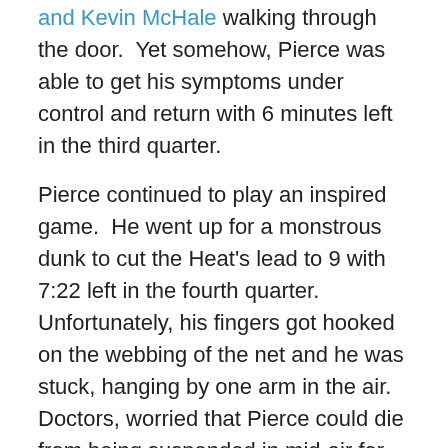and Kevin McHale walking through the door.  Yet somehow, Pierce was able to get his symptoms under control and return with 6 minutes left in the third quarter.
Pierce continued to play an inspired game.  He went up for a monstrous dunk to cut the Heat's lead to 9 with 7:22 left in the fourth quarter.  Unfortunately, his fingers got hooked on the webbing of the net and he was stuck, hanging by one arm in the air.  Doctors, worried that Pierce could die from being suspended in mid-air for too long, immediately amputated the arm allowing Pierce to be freed.  Pierce was again rushed to the locker room by the medical staff.  But, it a moment reminiscent of Willis Reed's injured return to the court during the Knicks championship game in the 70s, Pierce came out of the tunnel with only one arm and checked back into the game with 2 minutes remaining.  Showing no effects from the terrible, arm amputation